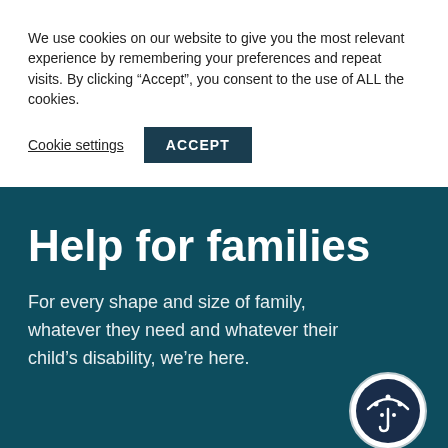We use cookies on our website to give you the most relevant experience by remembering your preferences and repeat visits. By clicking “Accept”, you consent to the use of ALL the cookies.
Cookie settings
ACCEPT
Help for families
For every shape and size of family, whatever they need and whatever their child’s disability, we’re here.
[Figure (logo): Circular icon with dark navy background showing a stylized family/umbrella figure with dots representing people]